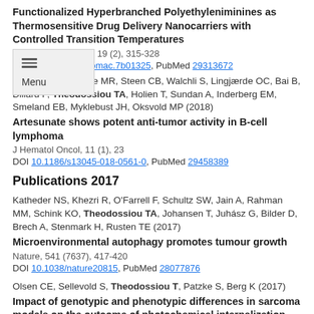Functionalized Hyperbranched Polyethyleniminines as Thermosensitive Drug Delivery Nanocarriers with Controlled Transition Temperatures
Biomacromolecules, 19 (2), 315-328
DOI 10.1021/acs.biomac.7b01325, PubMed 29313672
Våtsveen TK, Myhre MR, Steen CB, Walchli S, Lingjærde OC, Bai B, Dillard P, Theodossiou TA, Holien T, Sundan A, Inderberg EM, Smeland EB, Myklebust JH, Oksvold MP (2018)
Artesunate shows potent anti-tumor activity in B-cell lymphoma
J Hematol Oncol, 11 (1), 23
DOI 10.1186/s13045-018-0561-0, PubMed 29458389
Publications 2017
Katheder NS, Khezri R, O'Farrell F, Schultz SW, Jain A, Rahman MM, Schink KO, Theodossiou TA, Johansen T, Juhász G, Bilder D, Brech A, Stenmark H, Rusten TE (2017)
Microenvironmental autophagy promotes tumour growth
Nature, 541 (7637), 417-420
DOI 10.1038/nature20815, PubMed 28077876
Olsen CE, Sellevold S, Theodossiou T, Patzke S, Berg K (2017)
Impact of genotypic and phenotypic differences in sarcoma models on the outcome of photochemical internalization (PCI) of bleomycin